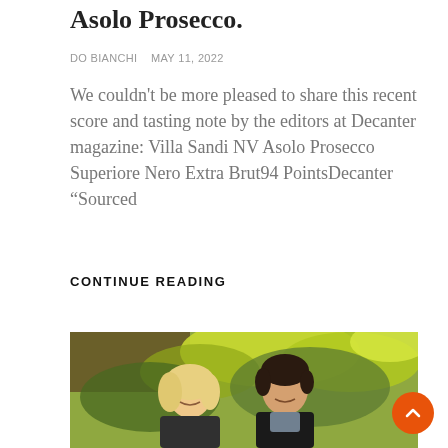Asolo Prosecco.
DO BIANCHI   MAY 11, 2022
We couldn't be more pleased to share this recent score and tasting note by the editors at Decanter magazine: Villa Sandi NV Asolo Prosecco Superiore Nero Extra Brut94 PointsDecanter “Sourced
CONTINUE READING
[Figure (photo): Two people (a blonde woman and a dark-haired man) smiling outdoors in front of green foliage and a wooden structure]